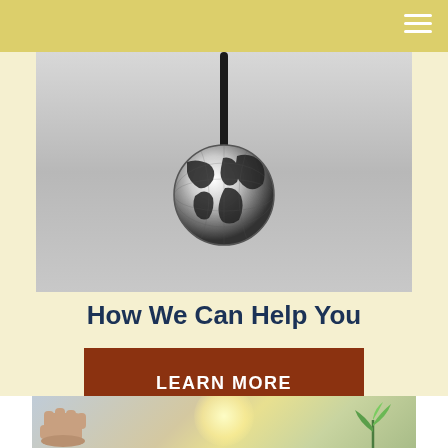[Figure (illustration): Navigation bar with hamburger menu icon on yellow/gold background at top of page]
[Figure (photo): Stethoscope with globe/earth ball at the end, on grey gradient background, inside cream-colored section]
How We Can Help You
LEARN MORE
[Figure (photo): Hand fist with green plant sprout and sunlight background in cream section at bottom]